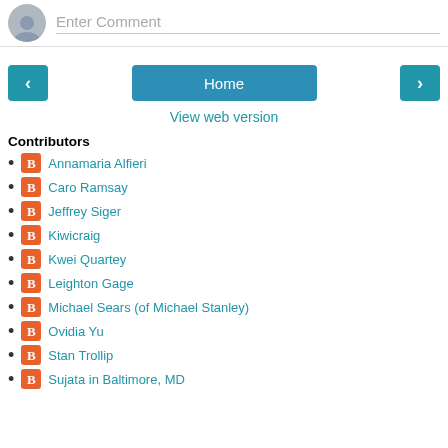Enter Comment
[Figure (screenshot): Navigation buttons: left arrow, Home, right arrow]
View web version
Contributors
Annamaria Alfieri
Caro Ramsay
Jeffrey Siger
Kiwicraig
Kwei Quartey
Leighton Gage
Michael Sears (of Michael Stanley)
Ovidia Yu
Stan Trollip
Sujata in Baltimore, MD